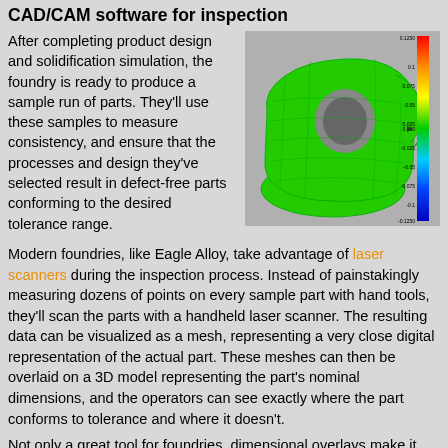CAD/CAM software for inspection
After completing product design and solidification simulation, the foundry is ready to produce a sample run of parts. They'll use these samples to measure consistency, and ensure that the processes and design they've selected result in defect-free parts conforming to the desired tolerance range.
[Figure (screenshot): 3D CAD/CAM model of a casting part shown in green wireframe mesh with a color deviation legend on the right side showing a scale from -0.1250 to 0.1250.]
Modern foundries, like Eagle Alloy, take advantage of laser scanners during the inspection process. Instead of painstakingly measuring dozens of points on every sample part with hand tools, they'll scan the parts with a handheld laser scanner. The resulting data can be visualized as a mesh, representing a very close digital representation of the actual part. These meshes can then be overlaid on a 3D model representing the part's nominal dimensions, and the operators can see exactly where the part conforms to tolerance and where it doesn't.
Not only a great tool for foundries, dimensional overlays make it much